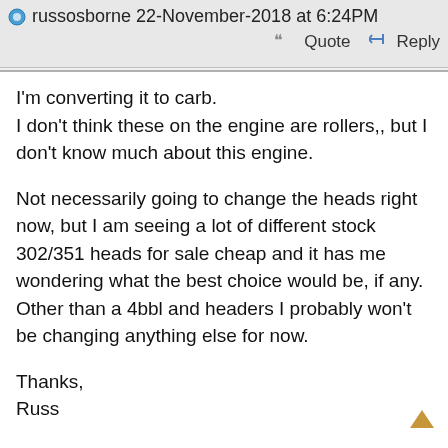russosborne 22-November-2018 at 6:24PM
I'm converting it to carb.
I don't think these on the engine are rollers,, but I don't know much about this engine.

Not necessarily going to change the heads right now, but I am seeing a lot of different stock 302/351 heads for sale cheap and it has me wondering what the best choice would be, if any. Other than a 4bbl and headers I probably won't be changing anything else for now.

Thanks,
Russ